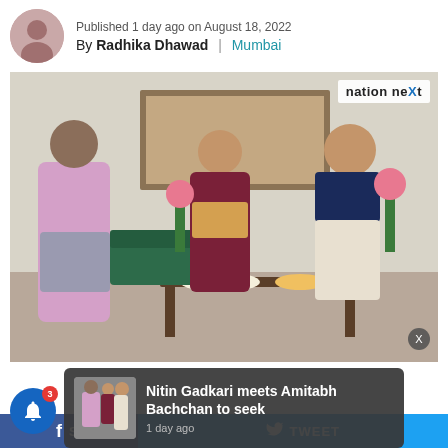Published 1 day ago on August 18, 2022
By Radhika Dhawad | Mumbai
[Figure (photo): Photo of three people in a living room: a young man in a pink/purple hoodie on the left, a man in dark maroon kurta in the center holding a box, and Amitabh Bachchan in a dark vest over white kurta on the right. There is a green sofa, a framed group photo on the wall, flowers, and a table with food in the foreground. The 'nation neXt' logo appears in the top right corner.]
Nitin Gadkari meets Amitabh Bachchan to seek
1 day ago